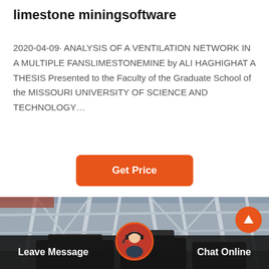limestone miningsoftware
2020-04-09· ANALYSIS OF A VENTILATION NETWORK IN A MULTIPLE FANSLIMESTONEMINE by ALI HAGHIGHAT A THESIS Presented to the Faculty of the Graduate School of the MISSOURI UNIVERSITY OF SCIENCE AND TECHNOLOGY…
[Figure (other): Orange 'Get Price' button]
[Figure (photo): Industrial mining facility with large steel framework structures and heavy machinery including what appears to be a crusher or conveyor equipment. A customer service chat overlay appears at the bottom with a female avatar with headset, 'Leave Message' on the left, 'Chat Online' on the right, and an orange up-arrow button.]